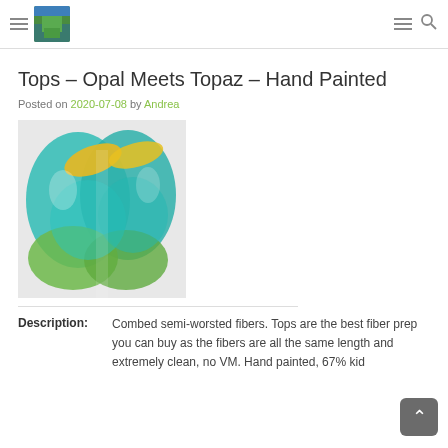Navigation header with hamburger menu, site logo, hamburger menu, and search icon
Tops – Opal Meets Topaz – Hand Painted
Posted on 2020-07-08 by Andrea
[Figure (photo): Two skeins of hand-painted fiber/tops in teal, yellow/gold, green and white colors, photographed from above on a white background.]
Description: Combed semi-worsted fibers. Tops are the best fiber prep you can buy as the fibers are all the same length and extremely clean, no VM. Hand painted, 67% kid